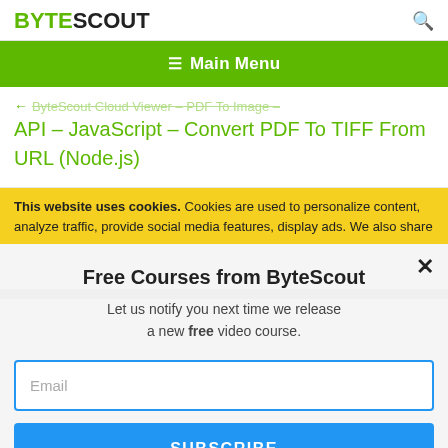BYTESCOUT
Main Menu
API – JavaScript – Convert PDF To TIFF From URL (Node.js)
This website uses cookies. Cookies are used to personalize content, analyze traffic, provide social media features, display ads. We also share
Free Courses from ByteScout
Let us notify you next time we release a new free video course.
Email
SUBSCRIBE